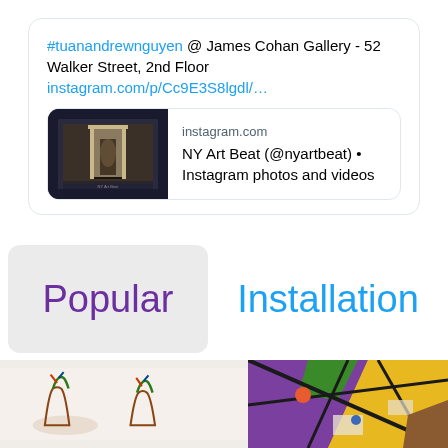#tuanandrewnguyen @ James Cohan Gallery - 52 Walker Street, 2nd Floor instagram.com/p/Cc9E3S8lgdl/…
[Figure (screenshot): Instagram link preview card showing a thumbnail of an art gallery interior with a doorway, domain 'instagram.com', title 'NY Art Beat (@nyartbeat) • Instagram photos and videos']
Popular
Installation
[Figure (photo): Two images at the bottom: left showing sculptural art objects on a white background, right showing a colorful abstract painting with geometric shapes in purple, yellow, green and black]